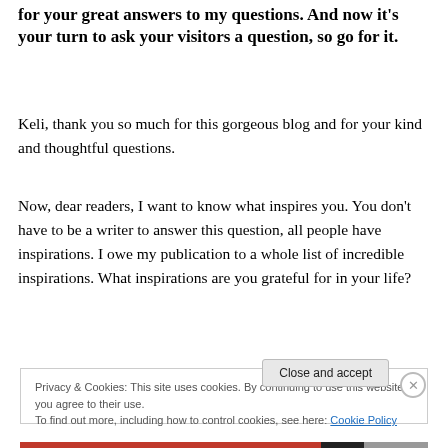for your great answers to my questions. And now it's your turn to ask your visitors a question, so go for it.
Keli, thank you so much for this gorgeous blog and for your kind and thoughtful questions.
Now, dear readers, I want to know what inspires you. You don't have to be a writer to answer this question, all people have inspirations. I owe my publication to a whole list of incredible inspirations. What inspirations are you grateful for in your life?
Privacy & Cookies: This site uses cookies. By continuing to use this website, you agree to their use. To find out more, including how to control cookies, see here: Cookie Policy